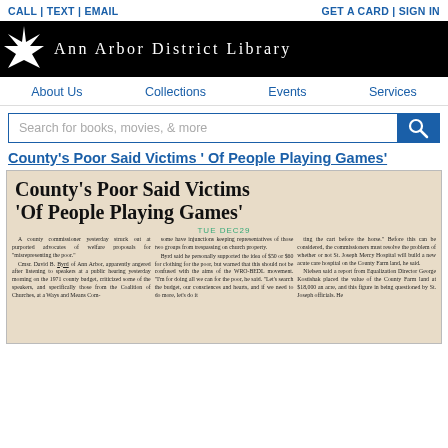CALL | TEXT | EMAIL    GET A CARD | SIGN IN
[Figure (logo): Ann Arbor District Library logo with white starburst on black background and white text reading Ann Arbor District Library]
About Us   Collections   Events   Services
Search for books, movies, & more
County's Poor Said Victims ' Of People Playing Games'
[Figure (photo): Scanned newspaper clipping with large headline 'County's Poor Said Victims Of People Playing Games' and three columns of small newspaper text, dated TUE DEC 29 (year partially visible)]